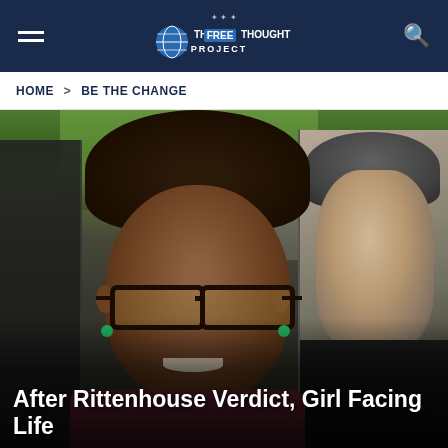The Free Thought Project
HOME > BE THE CHANGE
[Figure (photo): Center: A young Black girl smiling, wearing dark-framed glasses and green earrings, dressed in a maroon shirt. Left edge: partial silhouette of another person. Right: partial view of a white male's face with short hair and dark jacket. Background shows trees and a car.]
After Rittenhouse Verdict, Girl Facing Life